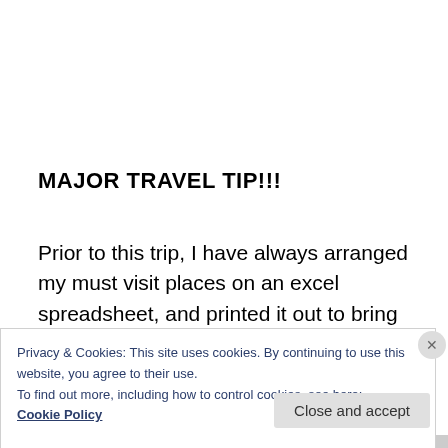MAJOR TRAVEL TIP!!!
Prior to this trip, I have always arranged my must visit places on an excel spreadsheet, and printed it out to bring along. But I had a major ephipany this
Privacy & Cookies: This site uses cookies. By continuing to use this website, you agree to their use.
To find out more, including how to control cookies, see here:
Cookie Policy
Close and accept